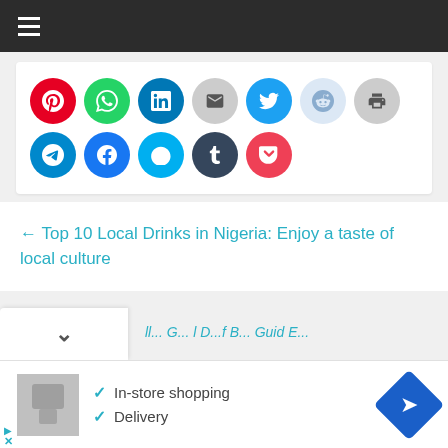[Figure (screenshot): Top navigation bar with hamburger menu icon on dark background]
[Figure (infographic): Social media share buttons row: Pinterest (red), WhatsApp (green), LinkedIn (blue), Email (grey), Twitter (light blue), Reddit (light blue), Print (grey), Telegram (teal), Facebook (blue), Skype (light blue), Tumblr (dark blue), Pocket (pink)]
← Top 10 Local Drinks in Nigeria: Enjoy a taste of local culture
[Figure (screenshot): Advertisement bar with in-store shopping and delivery checkmarks, navigation arrow icon]